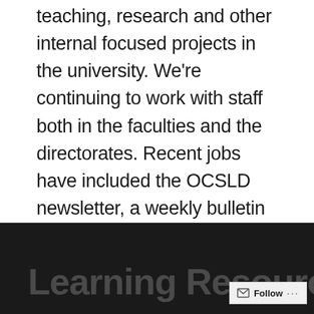teaching, research and other internal focused projects in the university. We're continuing to work with staff both in the faculties and the directorates. Recent jobs have included the OCSLD newsletter, a weekly bulletin written by and for staff in Learning Resources and a special Library and LR Update …
CONTINUE READING →
Learning Resources Still...